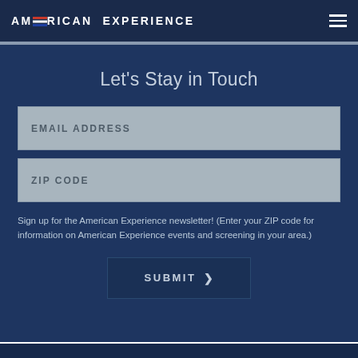AMERICAN EXPERIENCE
Let's Stay in Touch
EMAIL ADDRESS
ZIP CODE
Sign up for the American Experience newsletter! (Enter your ZIP code for information on American Experience events and screening in your area.)
SUBMIT >